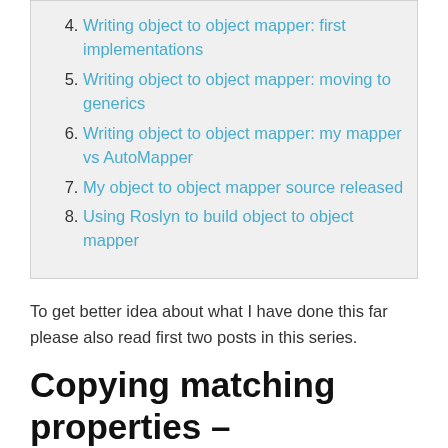4. Writing object to object mapper: first implementations
5. Writing object to object mapper: moving to generics
6. Writing object to object mapper: my mapper vs AutoMapper
7. My object to object mapper source released
8. Using Roslyn to build object to object mapper
To get better idea about what I have done this far please also read first two posts in this series.
Copying matching properties – Lightweight Code Generation (LCG)
The last performance boost was achieved by using LCG. I created static dictionary to cache generic delegates that